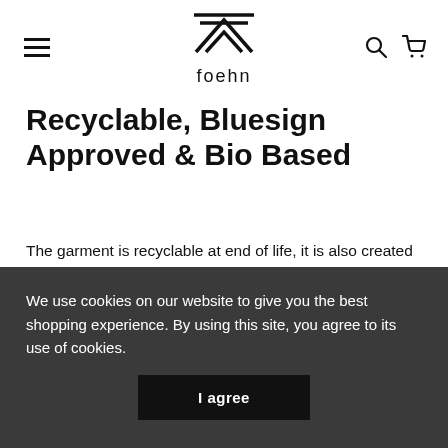foehn (logo/navigation header)
Recyclable, Bluesign Approved & Bio Based
The garment is recyclable at end of life, it is also created out of 37% bio based material. It uses 40% less energy & releases 56% fewer greenhouse gas emissions than traditional polyester material.
We use cookies on our website to give you the best shopping experience. By using this site, you agree to its use of cookies.
I agree